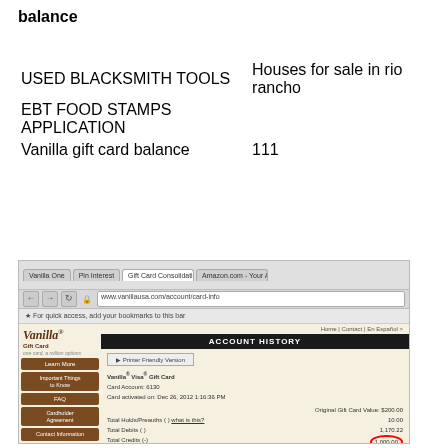balance
| USED BLACKSMITH TOOLS | Houses for sale in rio rancho |
| EBT FOOD STAMPS APPLICATION |  |
| Vanilla gift card balance | 111 |
[Figure (screenshot): Screenshot of the Vanilla Gift Card website showing Account History page with card details, transaction totals, and available gift card balance of $121.00 circled in red.]